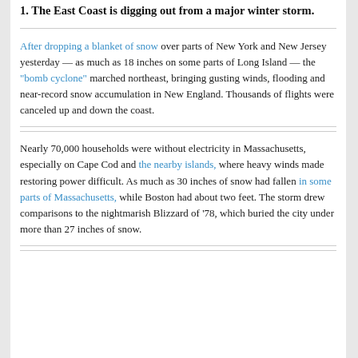1. The East Coast is digging out from a major winter storm.
After dropping a blanket of snow over parts of New York and New Jersey yesterday — as much as 18 inches on some parts of Long Island — the "bomb cyclone" marched northeast, bringing gusting winds, flooding and near-record snow accumulation in New England. Thousands of flights were canceled up and down the coast.
Nearly 70,000 households were without electricity in Massachusetts, especially on Cape Cod and the nearby islands, where heavy winds made restoring power difficult. As much as 30 inches of snow had fallen in some parts of Massachusetts, while Boston had about two feet. The storm drew comparisons to the nightmarish Blizzard of '78, which buried the city under more than 27 inches of snow.